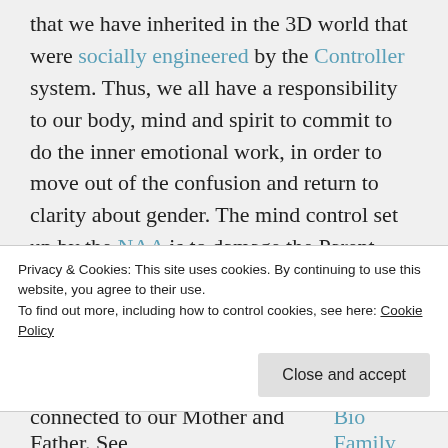that we have inherited in the 3D world that were socially engineered by the Controller system. Thus, we all have a responsibility to our body, mind and spirit to commit to do the inner emotional work, in order to move out of the confusion and return to clarity about gender. The mind control set up by the NAA is to damage the Parent-Child relationship in order to destroy the potential of the male-female sacred marriage later in adulthood, which has been described as the distortion of
Privacy & Cookies: This site uses cookies. By continuing to use this website, you agree to their use. To find out more, including how to control cookies, see here: Cookie Policy
connected to our Mother and Father. See Bio Family